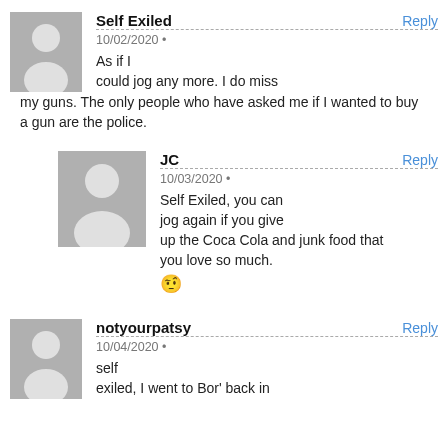Self Exiled — Reply — 10/02/2020 — As if I could jog any more. I do miss my guns. The only people who have asked me if I wanted to buy a gun are the police.
JC — Reply — 10/03/2020 — Self Exiled, you can jog again if you give up the Coca Cola and junk food that you love so much. 🤨
notyourpatsy — Reply — 10/04/2020 — self exiled, I went to Bor' back in